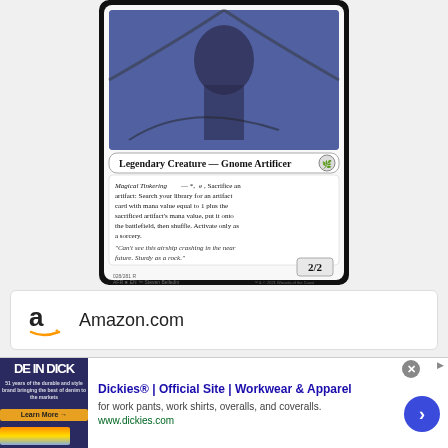[Figure (illustration): Magic: The Gathering card showing a Legendary Creature — Gnome Artificer with ability 'Magical Tinkering — *, tap, Sacrifice an artifact: Search your library for an artifact card with mana value equal to 1 plus the sacrificed artifact's mana value, put it onto the battlefield, then shuffle. Activate only as a sorcery.' Flavor text: "Can't see this airship crashing in the near future. Sturdy as a rock." Power/toughness: 2/2. Card number 028/281 R, AFR EN, art by Steven Belledin, 2021 Wizards of the Coast.]
Amazon.com
Ebay.com
Dickies® | Official Site | Workwear & Apparel
for work pants, work shirts, overalls, and coveralls.
www.dickies.com